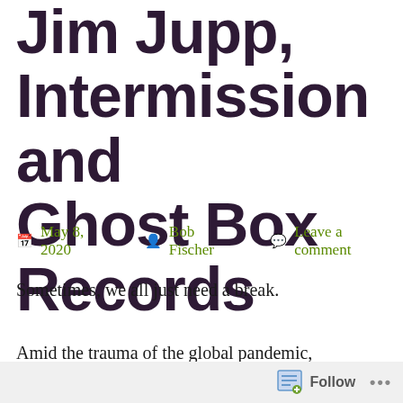Jim Jupp, Intermission and Ghost Box Records
May 8, 2020  Bob Fischer  Leave a comment
Sometimes, we all just need a break.
Amid the trauma of the global pandemic, collectively hemmed into an ongoing